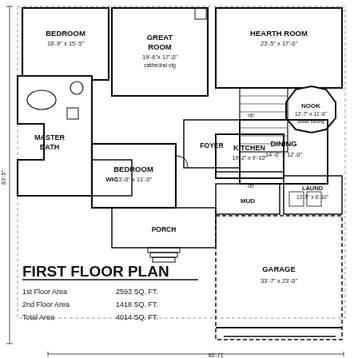[Figure (engineering-diagram): First floor plan of a house showing rooms: Bedroom (18-9 x 15-5), Great Room (19-6 x 17-0, cathedral clg), Hearth Room (23-5 x 17-0), Master Bath, Bedroom (13-0 x 11-0), WIC, Foyer, Dining (14-0 x 12-0), Nook (12-7 x 11-8, lower ceiling), Kitchen (19-2 x 9-10), Laund (13-5 x 6-10), Mud, Porch, Garage (33-7 x 23-0). Overall depth 83-5. Width 60-71 (partial). Floor areas: 1st Floor Area 2593 SQ. FT., 2nd Floor Area 1418 SQ. FT., Total Area 4014 SQ. FT.]